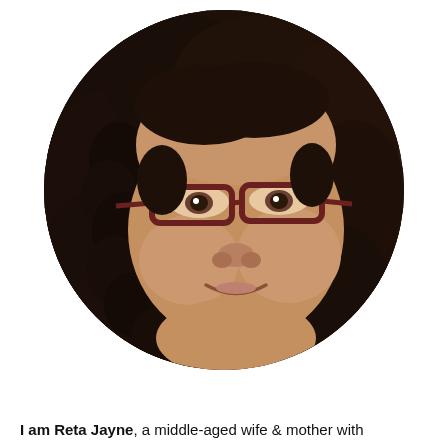[Figure (photo): Circular cropped portrait photo of a woman with dark curly hair, wearing dark red rectangular glasses, smiling slightly, with a light complexion. The photo is cropped in a circle shape against a white background.]
I am Reta Jayne, a middle-aged wife & mother with